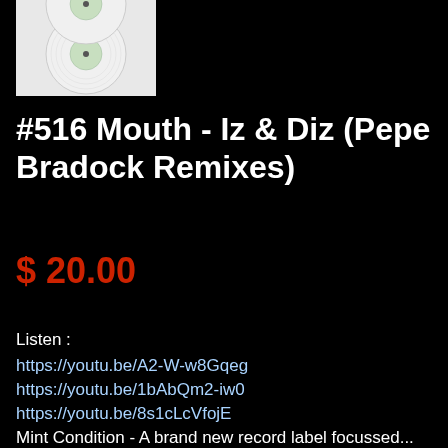[Figure (photo): White vinyl record with green center label on white background]
#516 Mouth - Iz & Diz (Pepe Bradock Remixes)
$ 20.00
Listen :
https://youtu.be/A2-W-w8Gqeg
https://youtu.be/1bAbQm2-iw0
https://youtu.be/8s1cLcVfojE
Mint Condition - A brand new record label focussed...